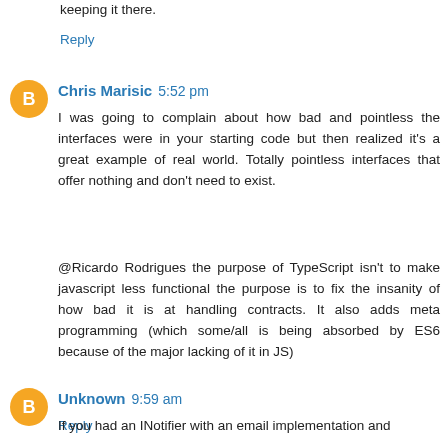keeping it there.
Reply
Chris Marisic  5:52 pm
I was going to complain about how bad and pointless the interfaces were in your starting code but then realized it's a great example of real world. Totally pointless interfaces that offer nothing and don't need to exist.
@Ricardo Rodrigues the purpose of TypeScript isn't to make javascript less functional the purpose is to fix the insanity of how bad it is at handling contracts. It also adds meta programming (which some/all is being absorbed by ES6 because of the major lacking of it in JS)
Reply
Unknown  9:59 am
If you had an INotifier with an email implementation and